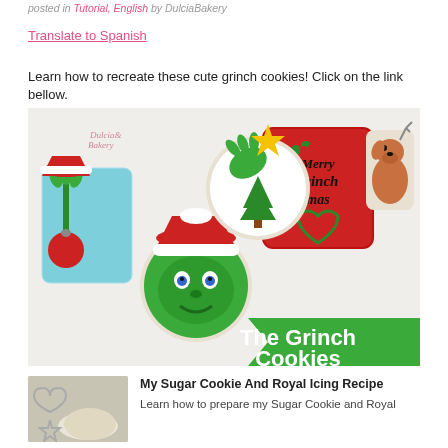posted in Tutorial, English by DulciaBakery
Translate to Spanish
Learn how to recreate these cute grinch cookies! Click on the link bellow.
[Figure (photo): A photo of decorated Grinch-themed sugar cookies with text banner reading 'The Grinch Cookies' and Dulcia Bakery logo. Cookies include the Grinch face, Merry Grinchmas plaque, Grinch stealing ornament, Grinch with star, and Max the dog.]
[Figure (photo): Thumbnail photo of sugar cookie cutters and dough with flour on a surface]
My Sugar Cookie And Royal Icing Recipe
Learn how to prepare my Sugar Cookie and Royal